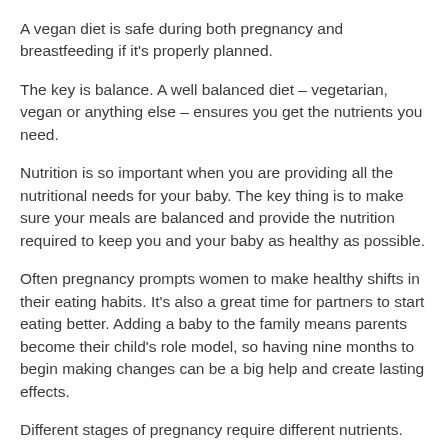A vegan diet is safe during both pregnancy and breastfeeding if it's properly planned.
The key is balance. A well balanced diet – vegetarian, vegan or anything else – ensures you get the nutrients you need.
Nutrition is so important when you are providing all the nutritional needs for your baby. The key thing is to make sure your meals are balanced and provide the nutrition required to keep you and your baby as healthy as possible.
Often pregnancy prompts women to make healthy shifts in their eating habits. It's also a great time for partners to start eating better. Adding a baby to the family means parents become their child's role model, so having nine months to begin making changes can be a big help and create lasting effects.
Different stages of pregnancy require different nutrients.
During the first trimester of pregnancy you don't need extra calories.